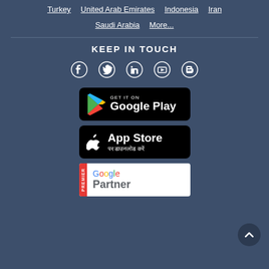Turkey   United Arab Emirates   Indonesia   Iran
Saudi Arabia   More...
KEEP IN TOUCH
[Figure (infographic): Social media icons: Facebook, Twitter, LinkedIn, YouTube, Blogger]
[Figure (infographic): GET IT ON Google Play badge]
[Figure (infographic): App Store download badge with Hindi text]
[Figure (logo): Google Premier Partner badge]